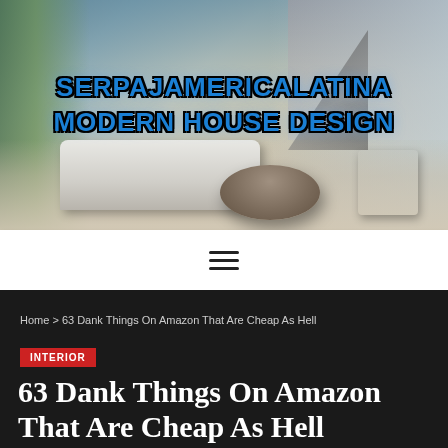[Figure (photo): Interior photo of a modern luxury living room with sectional sofa, round coffee table, accent chair, staircase in background, floor-to-ceiling windows, and outdoor greenery visible on the left. Text overlay reads SERPAJAMERICALATINA MODERN HOUSE DESIGN in blue with black outline.]
SERPAJAMERICALATINA MODERN HOUSE DESIGN
≡ (hamburger menu icon)
Home > 63 Dank Things On Amazon That Are Cheap As Hell
INTERIOR
63 Dank Things On Amazon That Are Cheap As Hell